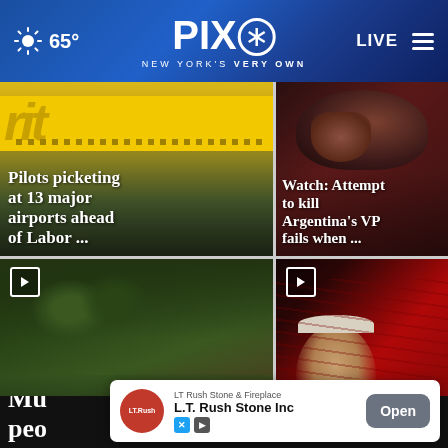PIX11 New York's Very Own — 65° — LIVE
[Figure (screenshot): Spirit Airlines yellow plane with text overlay: Pilots picketing at 13 major airports ahead of Labor ...]
Pilots picketing at 13 major airports ahead of Labor ...
[Figure (screenshot): Dark image with raised fist, text overlay: Watch: Attempt to kill Argentina's VP fails when ...]
Watch: Attempt to kill Argentina's VP fails when ...
[Figure (screenshot): Aerial view of flood scene with emergency responders, play button icon visible]
[Figure (screenshot): Joe Biden at podium with red lighting, play button icon visible]
Mu ... o's peo ...
LT Rush Stone & Fireplace
L.T. Rush Stone Inc
Open